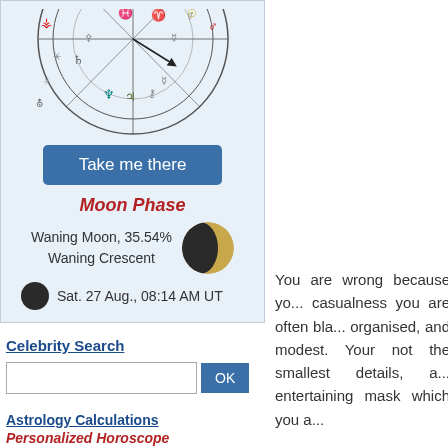[Figure (illustration): Partial astrological birth chart wheel with planetary symbols in various colors (red, blue, teal, gold, grey) on a light blue background]
Take me there
Moon Phase
Waning Moon, 35.54%
Waning Crescent
[Figure (illustration): Waning crescent moon photo showing mostly dark moon with crescent of light on left side]
Sat. 27 Aug., 08:14 AM UT
[Figure (illustration): Small dark circle representing new/dark moon phase]
Celebrity Search
OK
Astrology Calculations
Personalized Horoscope
Your Daily Horoscope
Personality
Horoscope and Ascendant
You are wrong because yo... casualness you are often bla... organised, and modest. Your... not the smallest details, a... entertaining mask which you a...
Since they are both Mutabl... flexible and able to adjust to a...